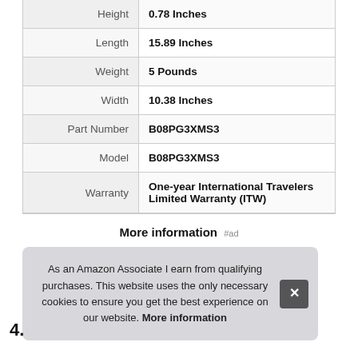| Attribute | Value |
| --- | --- |
| Height | 0.78 Inches |
| Length | 15.89 Inches |
| Weight | 5 Pounds |
| Width | 10.38 Inches |
| Part Number | B08PG3XMS3 |
| Model | B08PG3XMS3 |
| Warranty | One-year International Travelers Limited Warranty (ITW) |
More information #ad
As an Amazon Associate I earn from qualifying purchases. This website uses the only necessary cookies to ensure you get the best experience on our website. More information